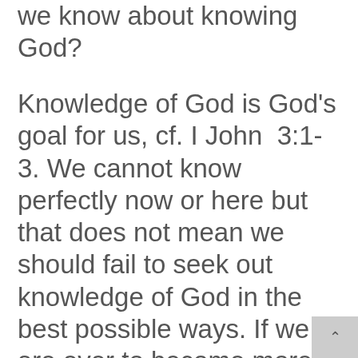we know about knowing God?
Knowledge of God is God's goal for us, cf. I John 3:1-3. We cannot know perfectly now or here but that does not mean we should fail to seek out knowledge of God in the best possible ways. If we are ever to become more than mechanics in metaphysics knowledge of God will be that fulcrum to leverage us from blind faith to deep certainty of such nature we can reliably